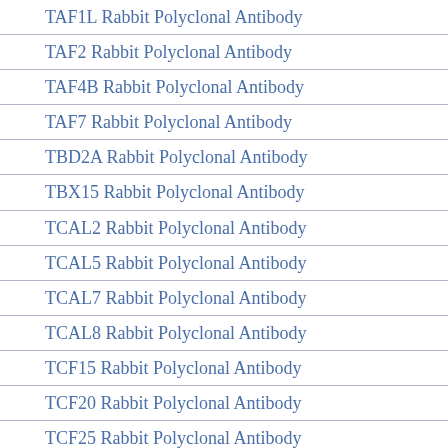TAF1L Rabbit Polyclonal Antibody
TAF2 Rabbit Polyclonal Antibody
TAF4B Rabbit Polyclonal Antibody
TAF7 Rabbit Polyclonal Antibody
TBD2A Rabbit Polyclonal Antibody
TBX15 Rabbit Polyclonal Antibody
TCAL2 Rabbit Polyclonal Antibody
TCAL5 Rabbit Polyclonal Antibody
TCAL7 Rabbit Polyclonal Antibody
TCAL8 Rabbit Polyclonal Antibody
TCF15 Rabbit Polyclonal Antibody
TCF20 Rabbit Polyclonal Antibody
TCF25 Rabbit Polyclonal Antibody